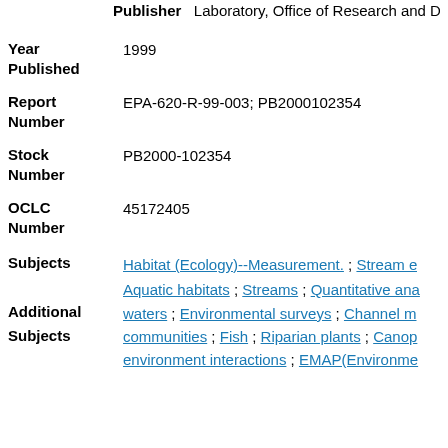Publisher: Laboratory, Office of Research and Development
| Field | Value |
| --- | --- |
| Year Published | 1999 |
| Report Number | EPA-620-R-99-003; PB2000102354 |
| Stock Number | PB2000-102354 |
| OCLC Number | 45172405 |
| Subjects | Habitat (Ecology)--Measurement. ; Stream e... |
| Additional Subjects | Aquatic habitats ; Streams ; Quantitative ana... waters ; Environmental surveys ; Channel m... communities ; Fish ; Riparian plants ; Canop... environment interactions ; EMAP(Environme... |